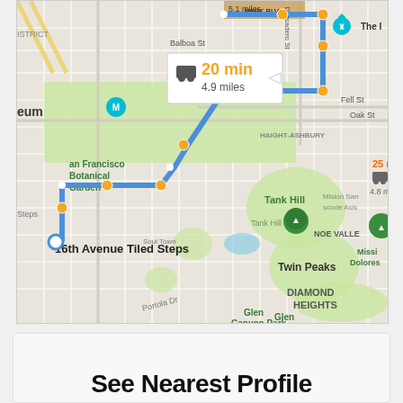[Figure (map): Google Maps screenshot showing a driving route in San Francisco. A blue route with orange waypoints is highlighted, showing '20 min, 4.9 miles' in a popup. Landmarks include SF Botanical Garden, 16th Avenue Tiled Steps, Tank Hill, Twin Peaks, Diamond Heights, Glen Canyon Park, Noe Valley, Mission Dolores. A second route shows '25 min, 4.8 miles'.]
See Nearest Profile